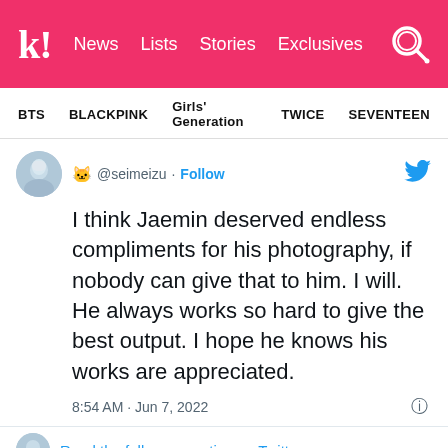K! News  Lists  Stories  Exclusives
BTS  BLACKPINK  Girls' Generation  TWICE  SEVENTEEN
🐱 @seimeizu · Follow
I think Jaemin deserved endless compliments for his photography, if nobody can give that to him. I will. He always works so hard to give the best output. I hope he knows his works are appreciated.
8:54 AM · Jun 7, 2022
Read the full conversation on Twitter
2.3K  Reply  Copy link
Read 1 reply